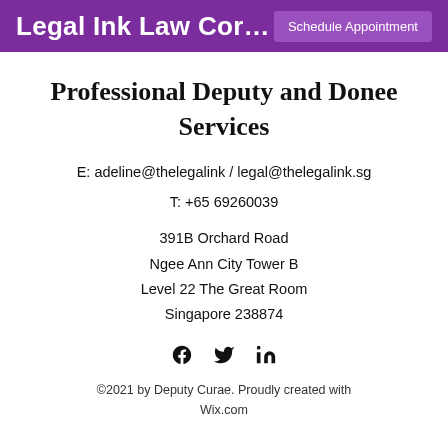Legal Ink Law Cor…
Professional Deputy and Donee Services
E: adeline@thelegalink / legal@thelegalink.sg
T: +65 69260039
391B Orchard Road
Ngee Ann City Tower B
Level 22 The Great Room
Singapore 238874
[Figure (illustration): Social media icons: Facebook, Twitter, LinkedIn]
©2021 by Deputy Curae. Proudly created with Wix.com